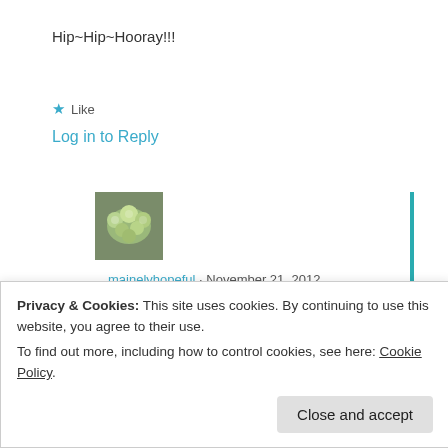Hip~Hip~Hooray!!!
★ Like
Log in to Reply
[Figure (photo): Avatar image showing green flowers/plants]
mainelyhopeful · November 21, 2012
❤
★ Like
Privacy & Cookies: This site uses cookies. By continuing to use this website, you agree to their use.
To find out more, including how to control cookies, see here: Cookie Policy